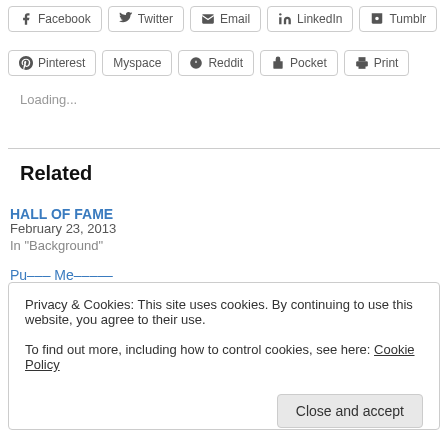Facebook
Twitter
Email
LinkedIn
Tumblr
Pinterest
Myspace
Reddit
Pocket
Print
Loading...
Related
HALL OF FAME
February 23, 2013
In "Background"
Privacy & Cookies: This site uses cookies. By continuing to use this website, you agree to their use.
To find out more, including how to control cookies, see here: Cookie Policy